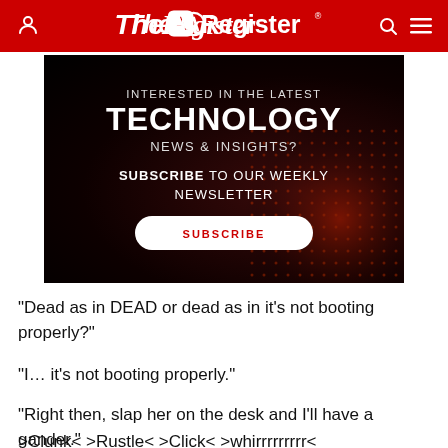The Register
[Figure (other): Advertisement banner: dark red/black background with dot grid pattern. Text reads: INTERESTED IN THE LATEST TECHNOLOGY NEWS & INSIGHTS? SUBSCRIBE TO OUR WEEKLY NEWSLETTER. White button with red text: SUBSCRIBE]
"Dead as in DEAD or dead as in it's not booting properly?"
"I… it's not booting properly."
"Right then, slap her on the desk and I'll have a gander."
>Clunk< >Rustle< >Click< >whirrrrrrrrr<